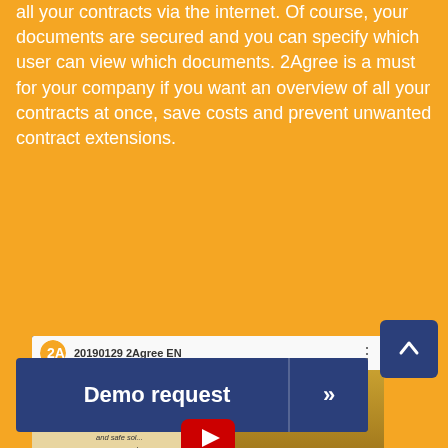all your contracts via the internet. Of course, your documents are secured and you can specify which user can view which documents. 2Agree is a must for your company if you want an overview of all your contracts at once, save costs and prevent unwanted contract extensions.
[Figure (screenshot): YouTube video embed thumbnail showing '20190129 2Agree EN' with a cartoon character pointing at a whiteboard and a play button overlay]
Demo request >>